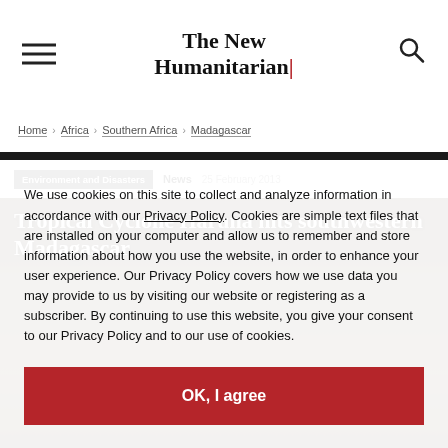The New Humanitarian
Home > Africa > Southern Africa > Madagascar
Environment and Disasters  News  25 February 2013
Tropical Cyclone Haruna hits southwestern Madagascar
[Figure (photo): Photo of people affected by tropical cyclone in Madagascar, partially visible behind cookie consent overlay]
We use cookies on this site to collect and analyze information in accordance with our Privacy Policy. Cookies are simple text files that are installed on your computer and allow us to remember and store information about how you use the website, in order to enhance your user experience. Our Privacy Policy covers how we use data you may provide to us by visiting our website or registering as a subscriber. By continuing to use this website, you give your consent to our Privacy Policy and to our use of cookies.
OK, I agree